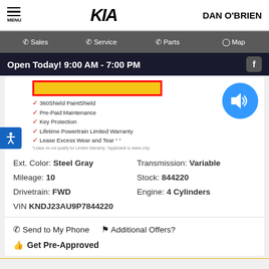MENU | KIA | DAN O'BRIEN
Sales | Service | Parts | Map
Open Today! 9:00 AM - 7:00 PM
[Figure (other): 360Shield package features list with red/yellow bordered box showing: 360Shield PaintShield, Pre-Paid Maintenance, Key Protection, Lifetime Powertrain Limited Warranty, Lease Excess Wear and Tear]
Ext. Color: Steel Gray
Transmission: Variable
Mileage: 10
Stock: 844220
Drivetrain: FWD
Engine: 4 Cylinders
VIN KNDJ23AU9P7844220
Send to My Phone
Additional Offers?
Get Pre-Approved